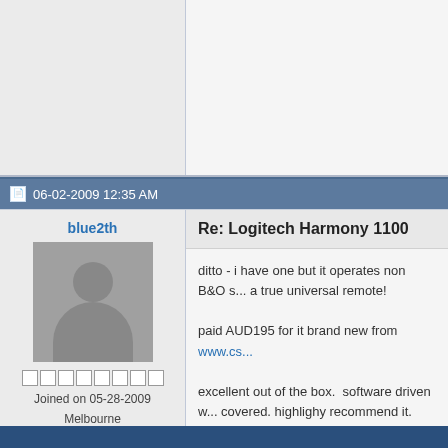06-02-2009 12:35 AM
blue2th
[Figure (photo): Default user avatar silhouette placeholder image]
Joined on 05-28-2009
Melbourne
Posts 33
1 out of 3 stars rating
Re: Logitech Harmony 1100
ditto - i have one but it operates non B&O stuff great so makes a true universal remote!
paid AUD195 for it brand new from www.cs...
excellent out of the box.  software driven w... covered. highlighy recommend it.